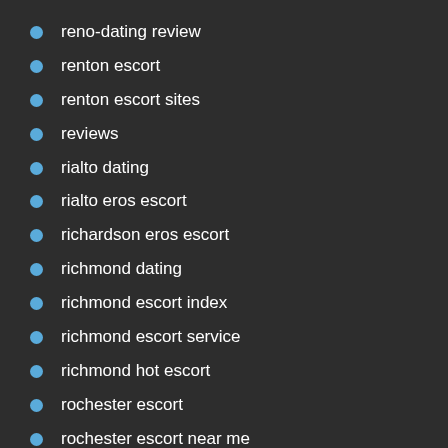reno-dating review
renton escort
renton escort sites
reviews
rialto dating
rialto eros escort
richardson eros escort
richmond dating
richmond escort index
richmond escort service
richmond hot escort
rochester escort
rochester escort near me
Romance Tale reddit